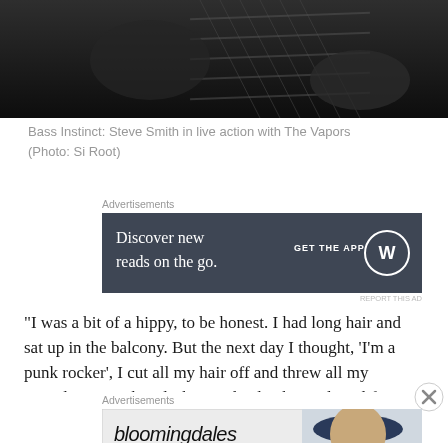[Figure (photo): Black and white photo of a guitarist/bassist playing guitar, close-up of hands on fretboard]
Bass Instinct: Steve Smith in live action with The Vapors (Photo: Si Root)
Advertisements
[Figure (other): WordPress app advertisement: 'Discover new reads on the go. GET THE APP' with WordPress logo]
REPORT THIS AD
“I was a bit of a hippy, to be honest. I had long hair and sat up in the balcony. But the next day I thought, ‘I’m a punk rocker’, I cut all my hair off and threw all my records away. The Clash completely changed my life, just from going to see them at the Civic Hall. Music was so boring at that
Advertisements
[Figure (other): Bloomingdales advertisement: 'View Today’s Top Deals! SHOP NOW >' with woman in hat image]